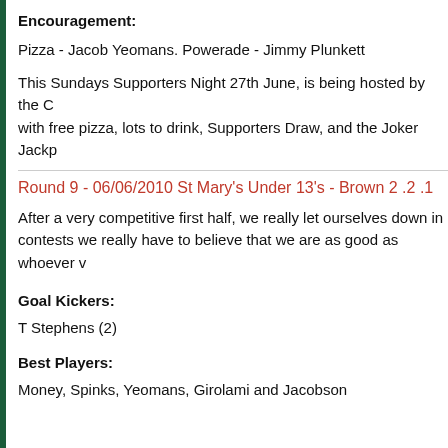Encouragement:
Pizza - Jacob Yeomans. Powerade - Jimmy Plunkett
This Sundays Supporters Night 27th June, is being hosted by the C with free pizza, lots to drink, Supporters Draw, and the Joker Jackp
Round 9 - 06/06/2010 St Mary's Under 13's - Brown 2 .2 .1
After a very competitive first half, we really let ourselves down in contests we really have to believe that we are as good as whoever v
Goal Kickers:
T Stephens (2)
Best Players:
Money, Spinks, Yeomans, Girolami and Jacobson